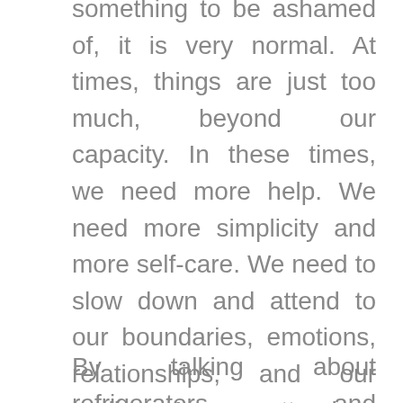something to be ashamed of, it is very normal. At times, things are just too much, beyond our capacity. In these times, we need more help. We need more simplicity and more self-care. We need to slow down and attend to our boundaries, emotions, relationships, and our bodies. As we attend to these they speak to us and let us know how we can care for ourselves in the moment.
By talking about refrigerators and auditoriums I absolutely do not want to trivialize or minimize the enormous stress on our capacity as individuals, families, communities, and countries at